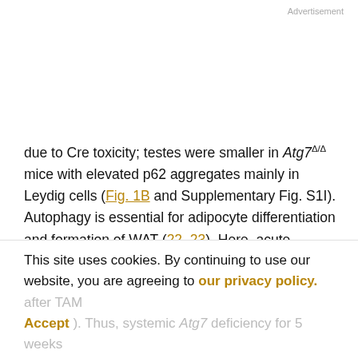Advertisement
due to Cre toxicity; testes were smaller in Atg7^Δ/Δ mice with elevated p62 aggregates mainly in Leydig cells (Fig. 1B and Supplementary Fig. S1I). Autophagy is essential for adipocyte differentiation and formation of WAT (22, 23). Here, acute autophagy ablation rapidly depleted lipid stores and reduced established WAT by converting WAT to brown adipose tissue (BAT) or by blocking BAT to WAT transdifferentiation. In contrast, marked liver, brain,
This site uses cookies. By continuing to use our website, you are agreeing to our privacy policy. Accept
Thus, systemic Atg7 deficiency for 5 weeks